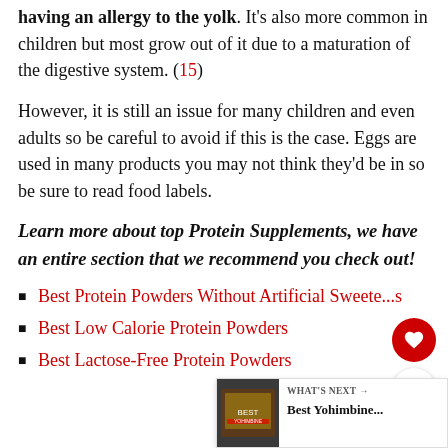having an allergy to the yolk. It's also more common in children but most grow out of it due to a maturation of the digestive system. (15)
However, it is still an issue for many children and even adults so be careful to avoid if this is the case. Eggs are used in many products you may not think they'd be in so be sure to read food labels.
Learn more about top Protein Supplements, we have an entire section that we recommend you check out!
Best Protein Powders Without Artificial Sweeteners
Best Low Calorie Protein Powders
Best Lactose-Free Protein Powders